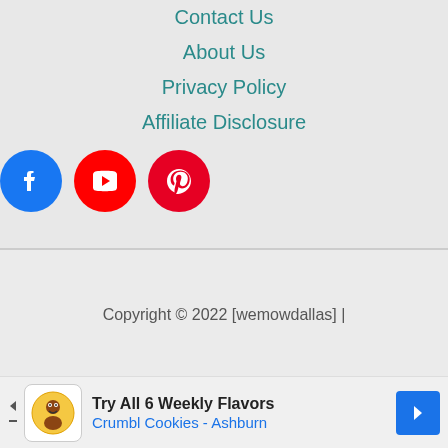Contact Us
About Us
Privacy Policy
Affiliate Disclosure
[Figure (illustration): Social media icons: Facebook (blue circle), YouTube (red circle), Pinterest (red circle)]
Copyright © 2022 [wemowdallas] |
[Figure (infographic): Advertisement banner: Try All 6 Weekly Flavors, Crumbl Cookies - Ashburn]